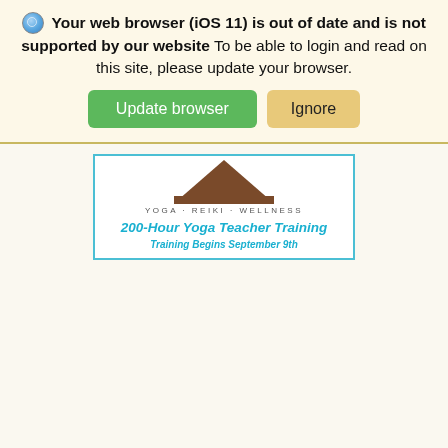Your web browser (iOS 11) is out of date and is not supported by our website To be able to login and read on this site, please update your browser.
[Figure (screenshot): Two buttons: a green 'Update browser' button and a tan/orange 'Ignore' button]
[Figure (illustration): Advertisement banner for 200-Hour Yoga Teacher Training with yoga/reiki/wellness tagline and 'Training Begins September 9th']